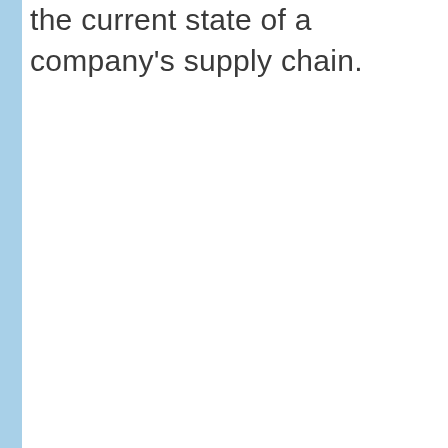the current state of a company's supply chain.